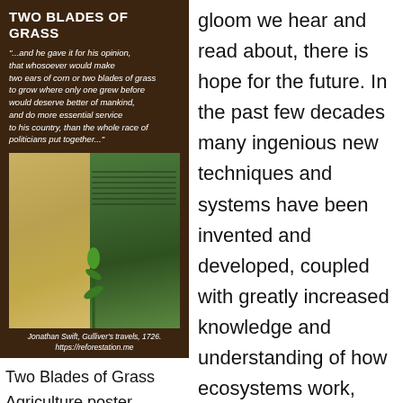[Figure (illustration): Two Blades of Grass agriculture poster with quote by Jonathan Swift from Gulliver's Travels, and a photo of wheat field next to corn rows. Caption: Jonathan Swift, Gulliver's travels, 1726. https://reforestation.me]
Two Blades of Grass Agriculture poster. Quote: Jonathan Swift, in Gulliver's Travels. Photo: Henry Be on Unsplash.com. Poster by
gloom we hear and read about, there is hope for the future. In the past few decades many ingenious new techniques and systems have been invented and developed, coupled with greatly increased knowledge and understanding of how ecosystems work, which make it possible to achieve much more with less work and resources, in less time, in the fields of agriculture, agroforestry, and environmental restoration and management. We live in